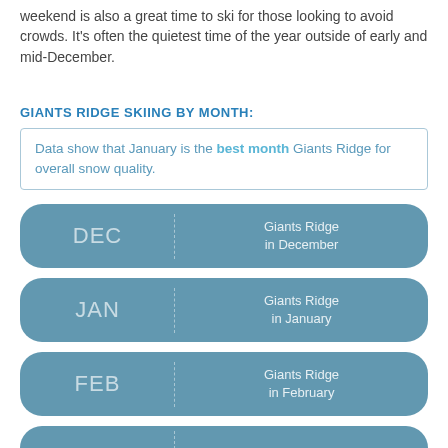weekend is also a great time to ski for those looking to avoid crowds. It's often the quietest time of the year outside of early and mid-December.
GIANTS RIDGE SKIING BY MONTH:
Data show that January is the best month Giants Ridge for overall snow quality.
DEC
Giants Ridge in December
JAN
Giants Ridge in January
FEB
Giants Ridge in February